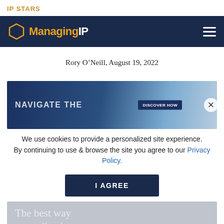IP STARS
[Figure (screenshot): Managing IP logo in navy navigation bar with hamburger menu icon]
Rory O’Neill, August 19, 2022
[Figure (screenshot): Advertisement banner with text NAVIGATE THE and DISCOVER HOW button, with blue gradient background]
We use cookies to provide a personalized site experience. By continuing to use & browse the site you agree to our Privacy Policy.
[Figure (screenshot): I AGREE button in dark navy blue]
[Figure (screenshot): Bottom faded banner with text: The best way to predict the]